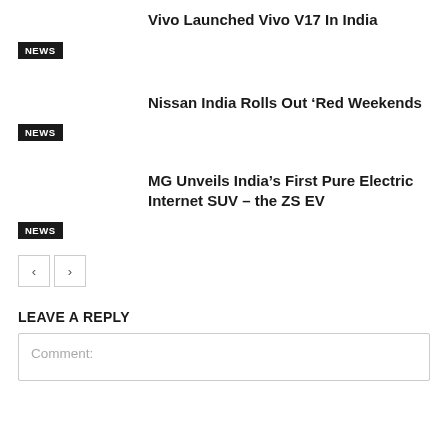Vivo Launched Vivo V17 In India
NEWS
Nissan India Rolls Out ‘Red Weekends
NEWS
MG Unveils India’s First Pure Electric Internet SUV – the ZS EV
NEWS
LEAVE A REPLY
Comment: